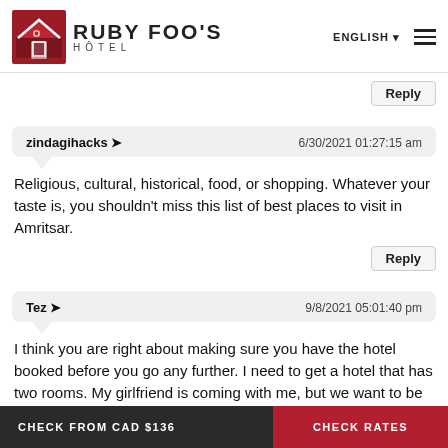[Figure (logo): Ruby Foo's Hôtel logo with red geometric house icon and text]
Reply
zindagihacks ➜   6/30/2021 01:27:15 am
Religious, cultural, historical, food, or shopping. Whatever your taste is, you shouldn't miss this list of best places to visit in Amritsar.
Reply
Tez ➜   9/8/2021 05:01:40 pm
I think you are right about making sure you have the hotel booked before you go any further. I need to get a hotel that has two rooms. My girlfriend is coming with me, but we want to be in separate beds.
CHECK FROM CAD $136   CHECK RATES